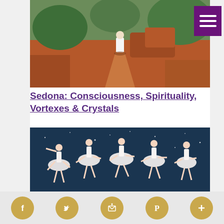[Figure (photo): Person in white clothing walking on a red dirt path in a desert landscape with green trees and red rock formations, Sedona Arizona]
Sedona: Consciousness, Spirituality, Vortexes & Crystals
[Figure (photo): Ballet dancers in white tutus performing on a stage with a dark blue starry background, multiple dancers in synchronized pose]
Social media icons: Facebook, Twitter, Email/Subscribe, Pinterest, More